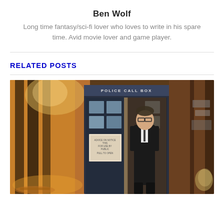Ben Wolf
Long time fantasy/sci-fi lover who loves to write in his spare time. Avid movie lover and game player.
RELATED POSTS
[Figure (photo): A man in a black suit standing in a TARDIS Police Call Box doorway, at what appears to be an event or exhibition. Warm amber lighting on left side, darker tones on right.]